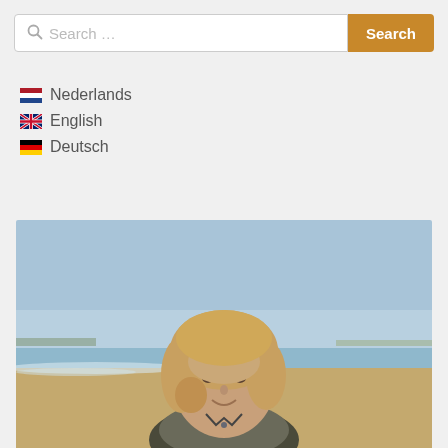[Figure (other): Search bar with text input and golden Search button]
Nederlands
English
Deutsch
[Figure (photo): Portrait photo of a middle-aged man with long blond hair, smiling on a beach with sky and sand in the background]